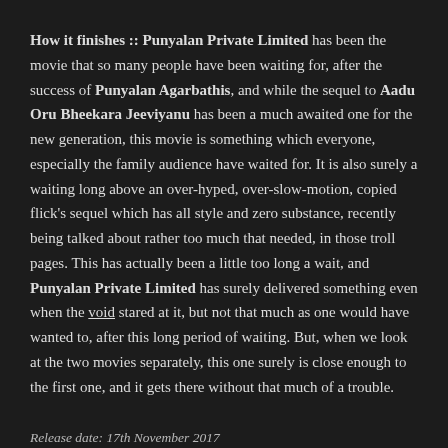How it finishes :: Punyalan Private Limited has been the movie that so many people have been waiting for, after the success of Punyalan Agarbathis, and while the sequel to Aadu Oru Bheekara Jeeviyanu has been a much awaited one for the new generation, this movie is something which everyone, especially the family audience have waited for. It is also surely a waiting long above an over-hyped, over-slow-motion, copied flick's sequel which has all style and zero substance, recently being talked about rather too much that needed, in those troll pages. This has actually been a little too long a wait, and Punyalan Private Limited has surely delivered something even when the void stared at it, but not that much as one would have wanted to, after this long period of waiting. But, when we look at the two movies separately, this one surely is close enough to the first one, and it gets there without that much of a trouble.
Release date: 17th November 2017
Running time: 129 minutes